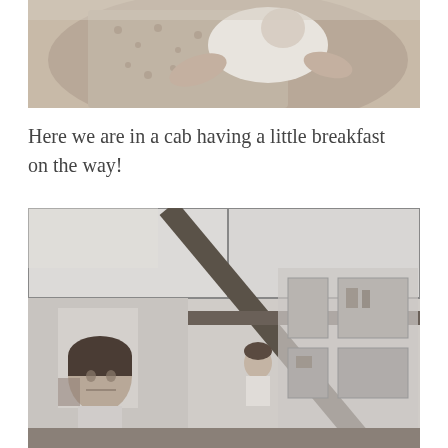[Figure (photo): Black and white photo of a woman in a floral dress holding a baby wrapped in white, taken in a cab]
Here we are in a cab having a little breakfast on the way!
[Figure (photo): Black and white photo of a person in an indoor setting, possibly a cafeteria or lobby, with large windows and glass partitions visible]